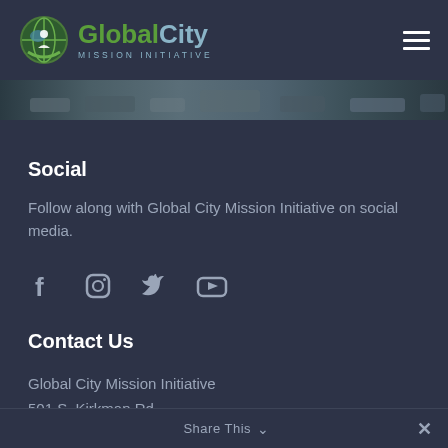[Figure (logo): Global City Mission Initiative logo with green and teal globe icon and text]
[Figure (photo): Banner photograph showing city street scene with vehicles, muted teal tones]
Social
Follow along with Global City Mission Initiative on social media.
[Figure (infographic): Social media icons: Facebook, Instagram, Twitter, YouTube]
Contact Us
Global City Mission Initiative
501 S. Kirkman Rd
Share This ∨  ✕